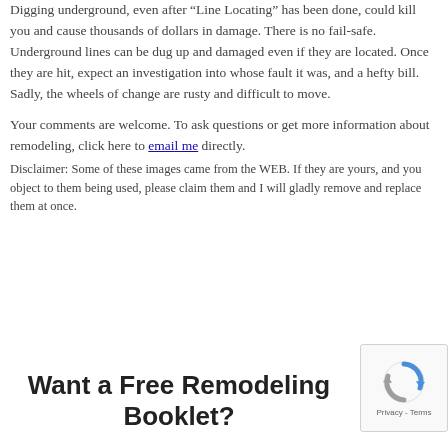Digging underground, even after “Line Locating” has been done, could kill you and cause thousands of dollars in damage. There is no fail-safe. Underground lines can be dug up and damaged even if they are located. Once they are hit, expect an investigation into whose fault it was, and a hefty bill. Sadly, the wheels of change are rusty and difficult to move.
Your comments are welcome. To ask questions or get more information about remodeling, click here to email me directly.
Disclaimer: Some of these images came from the WEB. If they are yours, and you object to them being used, please claim them and I will gladly remove and replace them at once.
Want a Free Remodeling Booklet?